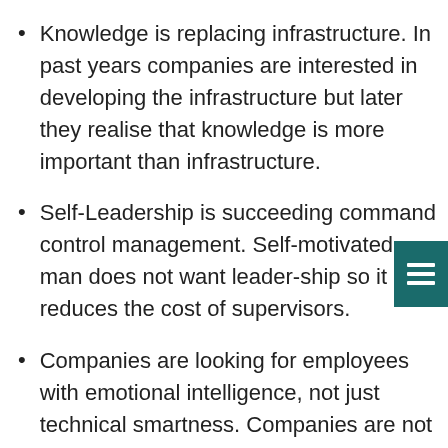Knowledge is replacing infrastructure. In past years companies are interested in developing the infrastructure but later they realise that knowledge is more important than infrastructure.
Self-Leadership is succeeding command control management. Self-motivated man does not want leader-ship so it reduces the cost of supervisors.
Companies are looking for employees with emotional intelligence, not just technical smartness. Companies are not hiring employees with high IQ but also for their high Emotional Intelligence EQ, because a